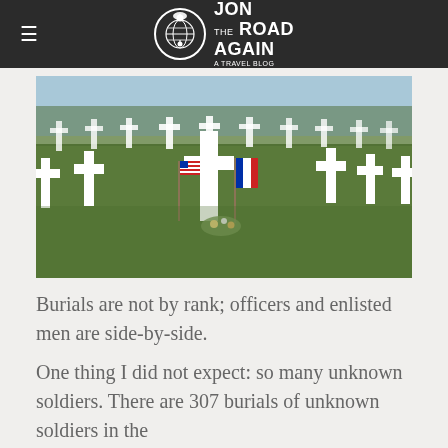Jon the Road Again
[Figure (photo): A military cemetery with rows of white crosses in green grass. American and French flags are placed at the graves. A close-up cross is in the foreground with flowers at its base.]
Burials are not by rank; officers and enlisted men are side-by-side.
One thing I did not expect: so many unknown soldiers. There are 307 burials of unknown soldiers in the